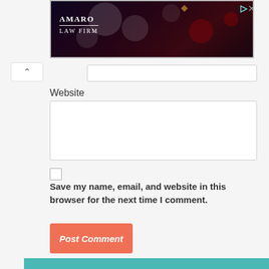[Figure (photo): Amaro Law Firm advertisement banner with dark bokeh background and white logo text]
Website
[Figure (screenshot): Website text input field (empty)]
Save my name, email, and website in this browser for the next time I comment.
Post Comment